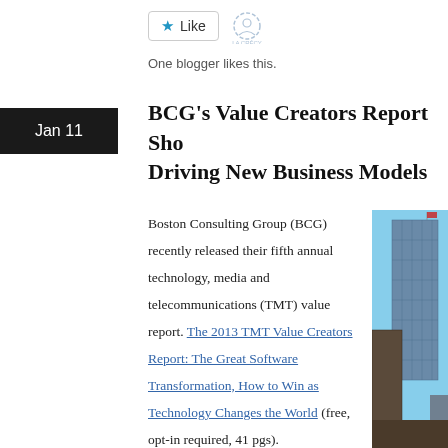[Figure (other): Like button widget with a star icon and an avatar icon, showing 'One blogger likes this.']
One blogger likes this.
Jan 11
BCG's Value Creators Report Sho... Driving New Business Models
Boston Consulting Group (BCG) recently released their fifth annual technology, media and telecommunications (TMT) value report. The 2013 TMT Value Creators Report: The Great Software Transformation, How to Win as Technology Changes the World (free, opt-in required, 41 pgs).
[Figure (photo): Photo of a modern glass skyscraper and a historic brick building in an urban setting with a blue sky background.]